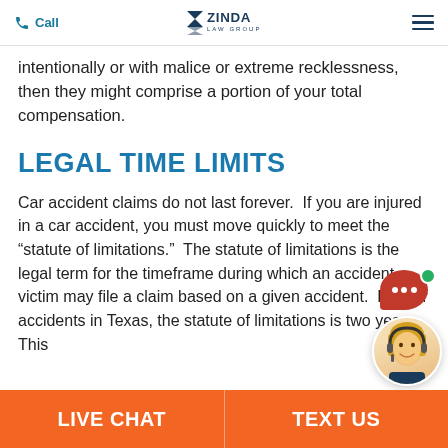Call | ZINDA LAW GROUP
intentionally or with malice or extreme recklessness, then they might comprise a portion of your total compensation.
LEGAL TIME LIMITS
Car accident claims do not last forever.  If you are injured in a car accident, you must move quickly to meet the “statute of limitations.”  The statute of limitations is the legal term for the timeframe during which an accident victim may file a claim based on a given accident.  For car accidents in Texas, the statute of limitations is two years.  This
LIVE CHAT | TEXT US